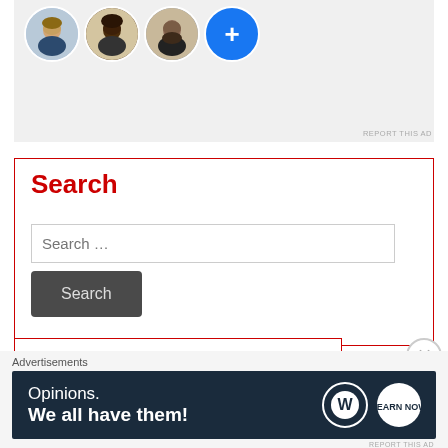[Figure (screenshot): Top portion of a social media ad showing four circular profile photos (three people and a blue plus button) on a grey background, with 'REPORT THIS AD' text at bottom right.]
Search
Search …
Search
Follow us on Facebook
Advertisements
[Figure (screenshot): Dark navy advertisement banner with text 'Opinions. We all have them!' and WordPress and one other circular logo on the right.]